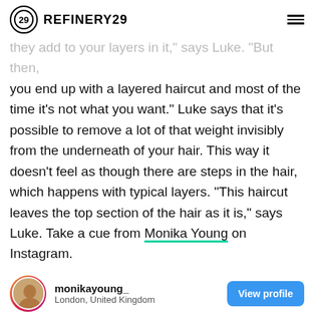REFINERY29
they add to your layers in it," says Luke. "But then, you end up with a layered haircut and most of the time it's not what you want." Luke says that it's possible to remove a lot of that weight invisibly from the underneath of your hair. This way it doesn't feel as though there are steps in the hair, which happens with typical layers. "This haircut leaves the top section of the hair as it is," says Luke. Take a cue from Monika Young on Instagram.
[Figure (other): Instagram profile card for monikayoung_ showing username, location (London, United Kingdom), circular avatar, and View profile button]
[Figure (photo): Close-up photo of blonde hair from above/behind]
[Figure (other): Sephora advertisement banner: SEPHORA SHOP NOW with perfume bottles and text 'Scents to Live In']